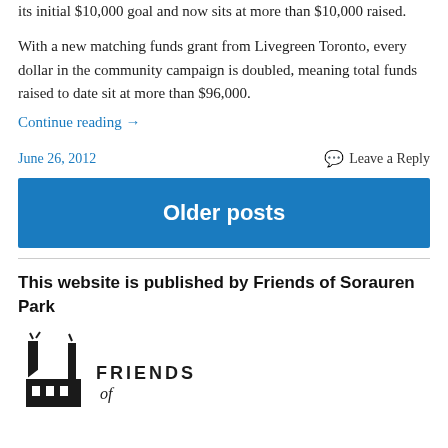its initial $10,000 goal and now sits at more than $10,000 raised.
With a new matching funds grant from Livegreen Toronto, every dollar in the community campaign is doubled, meaning total funds raised to date sit at more than $96,000.
Continue reading →
June 26, 2012    Leave a Reply
Older posts
This website is published by Friends of Sorauren Park
[Figure (logo): Friends of Sorauren Park logo with industrial chimney/building silhouette and text 'FRIENDS of']